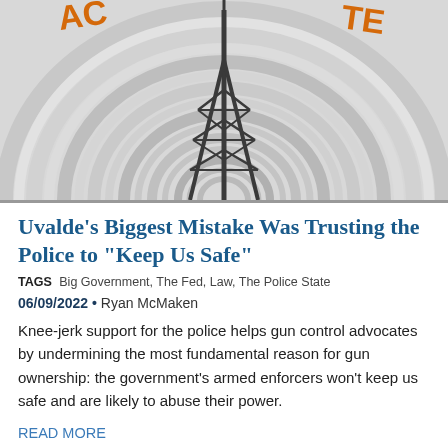[Figure (illustration): Radio broadcast tower illustration with concentric signal waves in gray and white, with partially visible orange text 'ADVOCATE' arc at the top]
Uvalde's Biggest Mistake Was Trusting the Police to "Keep Us Safe"
TAGS  Big Government, The Fed, Law, The Police State
06/09/2022 • Ryan McMaken
Knee-jerk support for the police helps gun control advocates by undermining the most fundamental reason for gun ownership: the government's armed enforcers won't keep us safe and are likely to abuse their power.
READ MORE